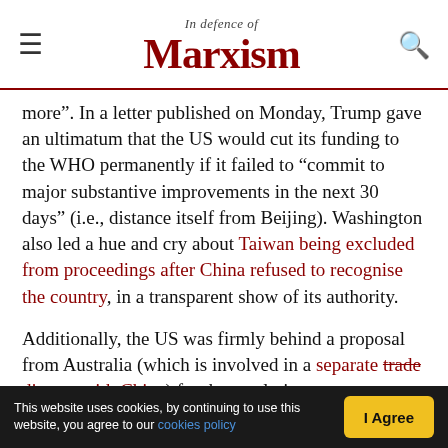In defence of Marxism
more”. In a letter published on Monday, Trump gave an ultimatum that the US would cut its funding to the WHO permanently if it failed to “commit to major substantive improvements in the next 30 days” (i.e., distance itself from Beijing). Washington also led a hue and cry about Taiwan being excluded from proceedings after China refused to recognise the country, in a transparent show of its authority.
Additionally, the US was firmly behind a proposal from Australia (which is involved in a separate trade dispute with China) for the resolution to
This website uses cookies, by continuing to use this website, you agree to our cookies policy